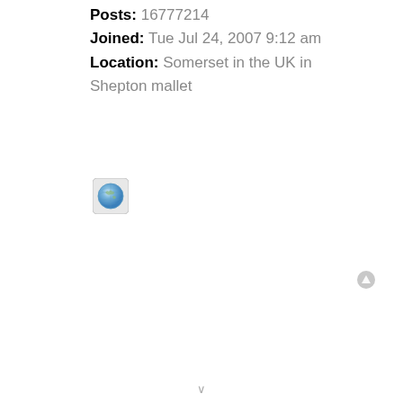Posts: 16777214
Joined: Tue Jul 24, 2007 9:12 am
Location: Somerset in the UK in Shepton mallet
[Figure (illustration): Small globe/world icon image]
[Figure (illustration): Small grey circle up-arrow icon]